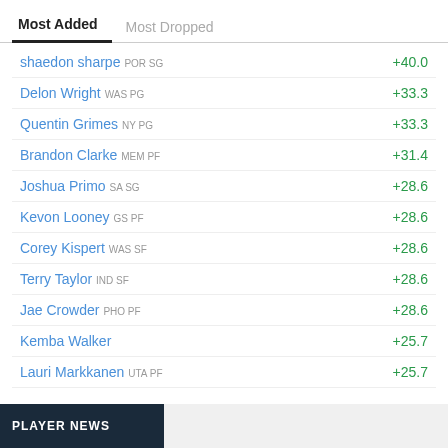Most Added
Most Dropped
shaedon sharpe POR SG +40.0
Delon Wright WAS PG +33.3
Quentin Grimes NY PG +33.3
Brandon Clarke MEM PF +31.4
Joshua Primo SA SG +28.6
Kevon Looney GS PF +28.6
Corey Kispert WAS SF +28.6
Terry Taylor IND SF +28.6
Jae Crowder PHO PF +28.6
Kemba Walker +25.7
Lauri Markkanen UTA PF +25.7
PLAYER NEWS